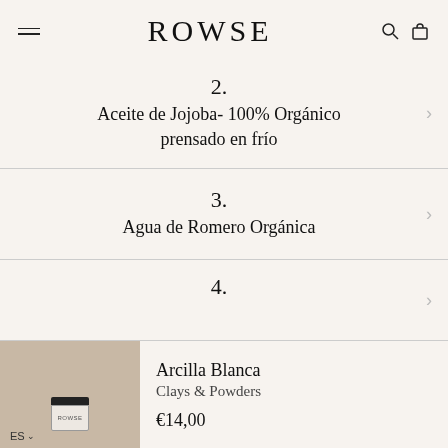ROWSE
2.
Aceite de Jojoba- 100% Orgánico prensado en frío
3.
Agua de Romero Orgánica
4.
[Figure (photo): Product image of Arcilla Blanca jar on beige background]
Arcilla Blanca
Clays & Powders
€14,00